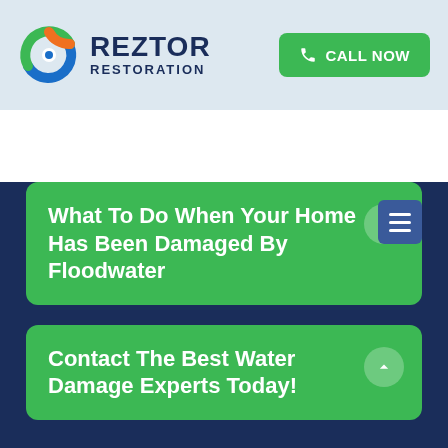[Figure (logo): Reztor Restoration logo with swirling green/blue/orange icon and dark blue text]
CALL NOW
[Figure (other): Hamburger menu button (three horizontal lines) on dark blue background]
What To Do When Your Home Has Been Damaged By Floodwater
Contact The Best Water Damage Experts Today!